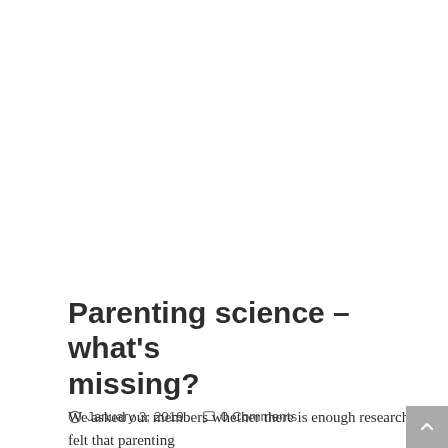Parenting science – what's missing?
January 3, 2019   0 Comments
We asked our members whether there is enough research into parenting / parenthood, and where they would like see more research. In general, PSGers felt that parenting